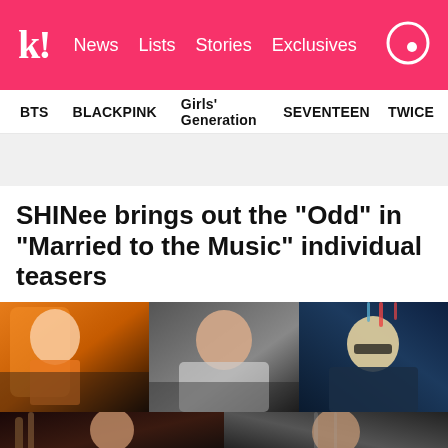k! News Lists Stories Exclusives
BTS BLACKPINK Girls' Generation SEVENTEEN TWICE
SHINee brings out the “Odd” in “Married to the Music” individual teasers
[Figure (photo): Collage of SHINee member teaser photos for ‘Married to the Music’ — six individual photos showing members in various styled looks with dramatic lighting and colorful outfits]